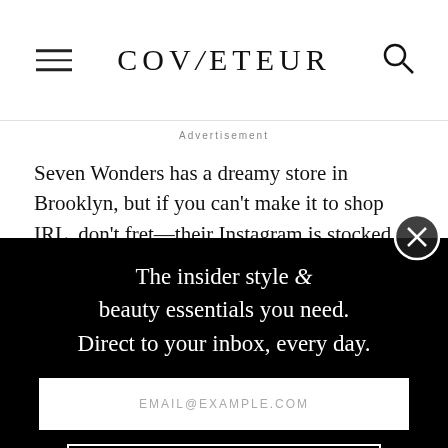COVETEUR
Advertisement
Seven Wonders has a dreamy store in Brooklyn, but if you can't make it to shop IRL, don't fret—their Instagram is stocked with equally impressive gems you
The insider style & beauty essentials you need. Direct to your inbox, every day.
EMAIL@EXAMPLE.COM
SIGN UP